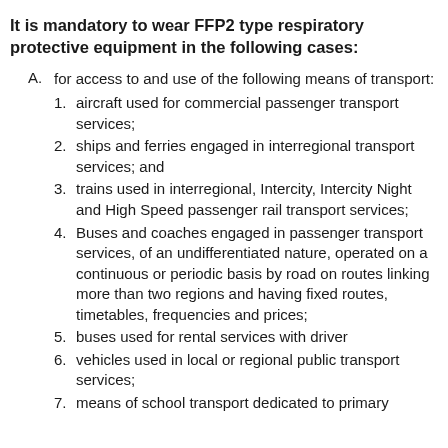It is mandatory to wear FFP2 type respiratory protective equipment in the following cases:
A. for access to and use of the following means of transport:
1. aircraft used for commercial passenger transport services;
2. ships and ferries engaged in interregional transport services; and
3. trains used in interregional, Intercity, Intercity Night and High Speed passenger rail transport services;
4. Buses and coaches engaged in passenger transport services, of an undifferentiated nature, operated on a continuous or periodic basis by road on routes linking more than two regions and having fixed routes, timetables, frequencies and prices;
5. buses used for rental services with driver
6. vehicles used in local or regional public transport services;
7. means of school transport dedicated to primary